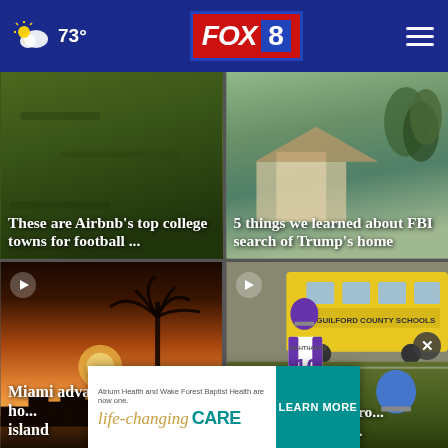FOX 8 — 73°
[Figure (screenshot): News card: football field turf close-up, text overlay 'These are Airbnb's top college towns for football ...']
These are Airbnb's top college towns for football ...
[Figure (screenshot): News card: neighborhood/home aerial view, text overlay '5 things we learned about FBI search of Trump's home']
5 things we learned about FBI search of Trump's home
[Figure (screenshot): Video card: Miami sunset with palm tree silhouette, text overlay 'Miami advances plan to move ho... island']
Miami advances plan to move ho... island
[Figure (screenshot): Video card: Football player wearing jersey #10 NIGHTHAWKS in front of Guilford County Schools bus, text overlay 'Play of the Night, from Eastern Northern...']
Play of the Night, from Eastern Northern...
[Figure (infographic): Ad banner: Atrium Health and Wake Forest Baptist Health — life-changing CARE — LEARN MORE]